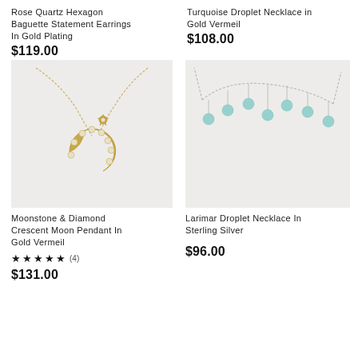Rose Quartz Hexagon Baguette Statement Earrings In Gold Plating
$119.00
Turquoise Droplet Necklace in Gold Vermeil
$108.00
[Figure (photo): Gold crescent moon pendant necklace with crystal/moonstone embellishments and a small star charm, on a gold chain, against a light grey background.]
[Figure (photo): Silver necklace with multiple turquoise/larimar circular droplet beads hanging from a delicate chain, against a light grey background.]
Moonstone & Diamond Crescent Moon Pendant In Gold Vermeil
★ ★ ★ ★ ★ (4)
$131.00
Larimar Droplet Necklace In Sterling Silver
$96.00